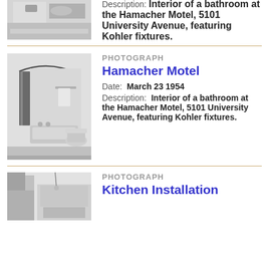[Figure (photo): Black and white photograph of a bathroom interior, partially visible at top of page]
Description: Interior of a bathroom at the Hamacher Motel, 5101 University Avenue, featuring Kohler fixtures.
[Figure (photo): Black and white photograph of a bathroom interior at the Hamacher Motel showing shower curtain, bathtub, and toilet]
PHOTOGRAPH
Hamacher Motel
Date: March 23 1954
Description: Interior of a bathroom at the Hamacher Motel, 5101 University Avenue, featuring Kohler fixtures.
[Figure (photo): Black and white photograph of a kitchen installation, partially visible at bottom of page]
PHOTOGRAPH
Kitchen Installation